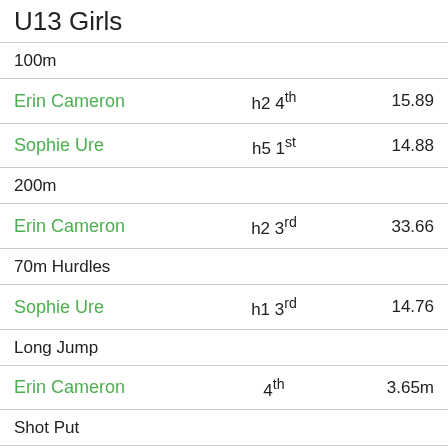U13 Girls
100m
Erin Cameron | h2 4th | 15.89
Sophie Ure | h5 1st | 14.88
200m
Erin Cameron | h2 3rd | 33.66
70m Hurdles
Sophie Ure | h1 3rd | 14.76
Long Jump
Erin Cameron | 4th | 3.65m
Shot Put
Erin Cameron | 8th | 4.17m
U13 Boys
1500m